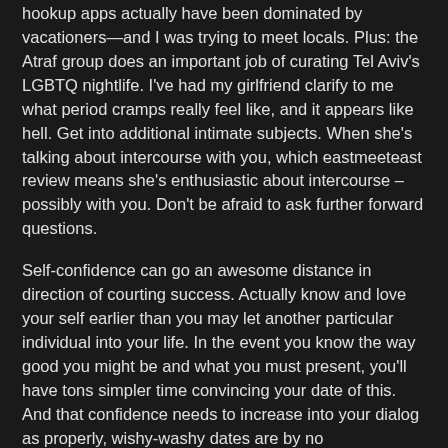hookup apps actually have been dominated by vacationers—and I was trying to meet locals. Plus: the Atraf group does an important job of curating Tel Aviv's LGBTQ nightlife. I've had my girlfriend clarify to me what period cramps really feel like, and it appears like hell. Get into additional intimate subjects. When she's talking about intercourse with you, which eastmeeteast review means she's enthusiastic about intercourse – possibly with you. Don't be afraid to ask further forward questions.
Self-confidence can go an awesome distance in direction of courting success. Actually know and love your self earlier than you may let another particular individual into your life. In the event you know the way good you might be and what you must present, you'll have tons simpler time convincing your date of this. And that confidence needs to increase into your dialog as properly, wishy-washy dates are by no Eastmeeteast means thrilling. It's disappointing when a